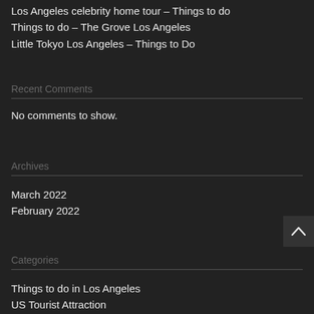Los Angeles celebrity home tour – Things to do
Things to do – The Grove Los Angeles
Little Tokyo Los Angeles – Things to Do
Recent Comments
No comments to show.
Archives
March 2022
February 2022
Categories
Things to do in Los Angeles
US Tourist Attraction